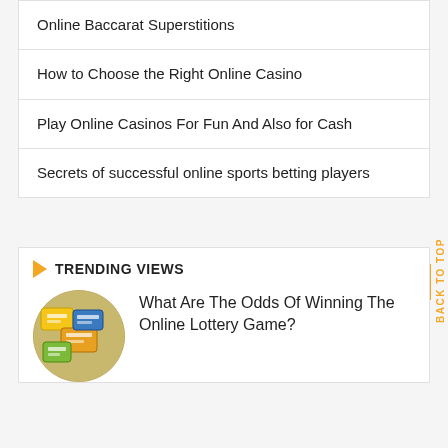Online Baccarat Superstitions
How to Choose the Right Online Casino
Play Online Casinos For Fun And Also for Cash
Secrets of successful online sports betting players
TRENDING VIEWS
What Are The Odds Of Winning The Online Lottery Game?